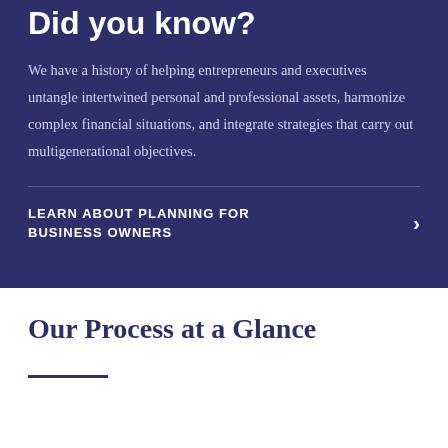Did you know?
We have a history of helping entrepreneurs and executives untangle intertwined personal and professional assets, harmonize complex financial situations, and integrate strategies that carry out multigenerational objectives.
LEARN ABOUT PLANNING FOR BUSINESS OWNERS
Our Process at a Glance